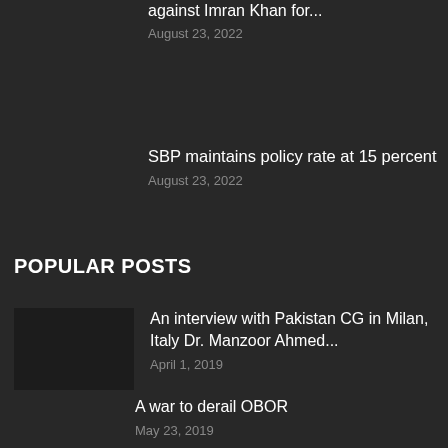ITO to launch contempt of court proceedings against Imran Khan for...
August 23, 2022
SBP maintains policy rate at 15 percent
August 23, 2022
POPULAR POSTS
An interview with Pakistan CG in Milan, Italy Dr. Manzoor Ahmed...
April 1, 2019
A war to derail OBOR
May 23, 2019
No room for failure